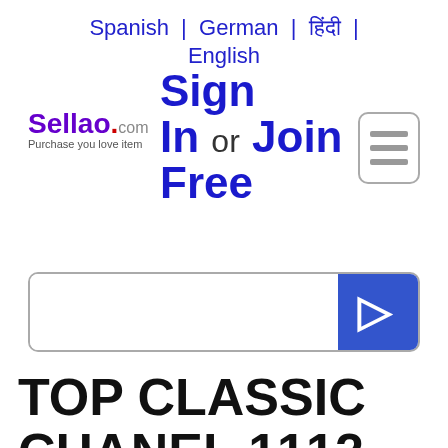Spanish | German | हिंदी | English
[Figure (logo): Sellao.com logo with tagline 'Purchase you love item']
Sign In or Join Free
[Figure (other): Hamburger menu button icon]
[Figure (other): Search bar with blue search button]
TOP CLASSIC CHANEL 1112 OIL